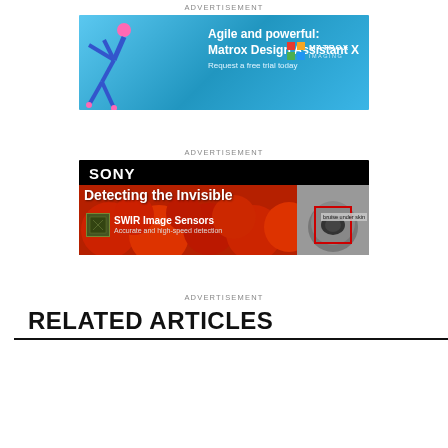ADVERTISEMENT
[Figure (illustration): Matrox Imaging advertisement banner with gymnast doing handstand and text 'Agile and powerful: Matrox Design Assistant X - Request a free trial today' on blue gradient background]
ADVERTISEMENT
[Figure (illustration): Sony advertisement banner with 'Detecting the Invisible - SWIR Image Sensors - Accurate and high-speed detection' on black background with apple imagery showing bruise under skin detection]
ADVERTISEMENT
RELATED ARTICLES